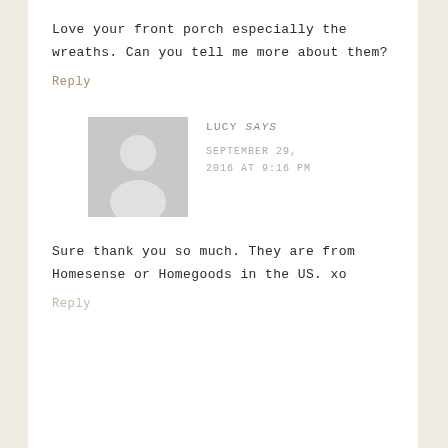Love your front porch especially the wreaths. Can you tell me more about them?
Reply
LUCY says
SEPTEMBER 29, 2016 AT 9:16 PM
Sure thank you so much. They are from Homesense or Homegoods in the US. xo
Reply